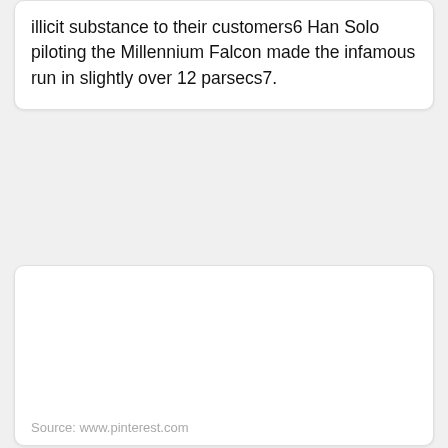illicit substance to their customers6 Han Solo piloting the Millennium Falcon made the infamous run in slightly over 12 parsecs7.
[Figure (other): Empty white card/box area with a source attribution at the bottom reading 'Source: www.pinterest.com']
Source: www.pinterest.com